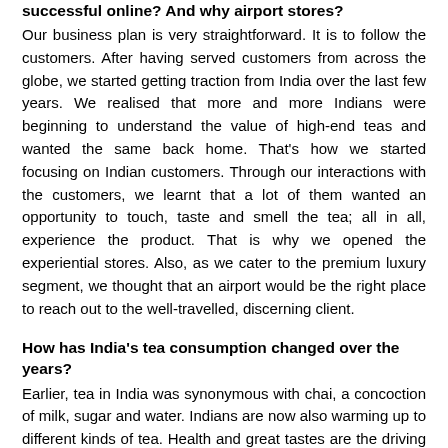successful online? And why airport stores?
Our business plan is very straightforward. It is to follow the customers. After having served customers from across the globe, we started getting traction from India over the last few years. We realised that more and more Indians were beginning to understand the value of high-end teas and wanted the same back home. That's how we started focusing on Indian customers. Through our interactions with the customers, we learnt that a lot of them wanted an opportunity to touch, taste and smell the tea; all in all, experience the product. That is why we opened the experiential stores. Also, as we cater to the premium luxury segment, we thought that an airport would be the right place to reach out to the well-travelled, discerning client.
How has India's tea consumption changed over the years?
Earlier, tea in India was synonymous with chai, a concoction of milk, sugar and water. Indians are now also warming up to different kinds of tea. Health and great tastes are the driving factors.
...